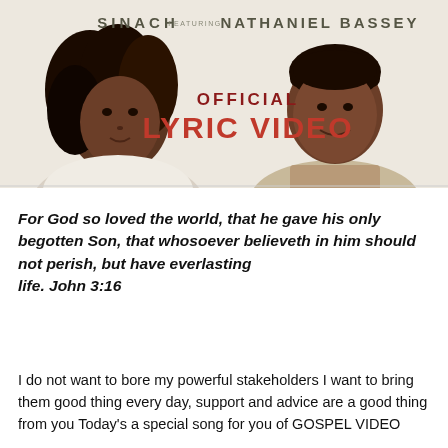[Figure (photo): Music promotional image showing SINACH featuring NATHANIEL BASSEY with text 'OFFICIAL LYRIC VIDEO' in red and black on a light beige background. Two people visible: a woman with long curly hair on the left and a man in a light suit on the right.]
For God so loved the world, that he gave his only begotten Son, that whosoever believeth in him should not perish, but have everlasting life. John 3:16
I do not want to bore my powerful stakeholders I want to bring them good thing every day, support and advice are a good thing from you Today's a special song for you of GOSPEL VIDEO